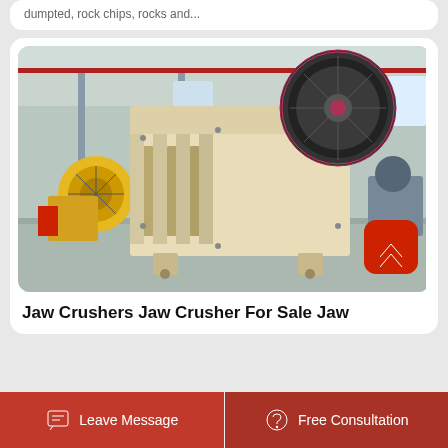dumpted, rock chips, rocks and...
[Figure (photo): Large industrial jaw crusher machine in a factory warehouse setting. The crusher is cream/beige colored with a large black flywheel on top right. Additional yellow machinery visible in background left. Factory has steel structure roof with red overhead crane.]
Jaw Crushers Jaw Crusher For Sale Jaw
Leave Message  Free Consultation